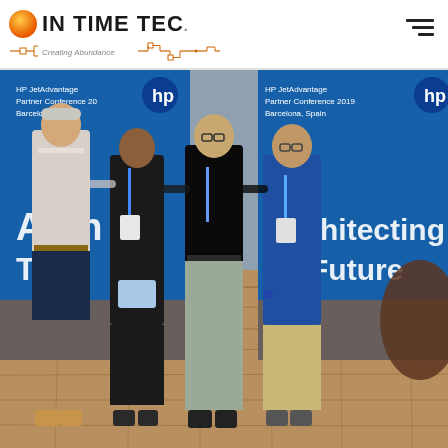IN TIME TEC - Creating Abundance
[Figure (photo): Four men standing together in front of HP JetAdvantage Partner Conference 2019 Barcelona, Spain banners that read 'Architecting The Future'. One man holds a small award or plaque. They are wearing conference lanyards. The setting has a wooden floor.]